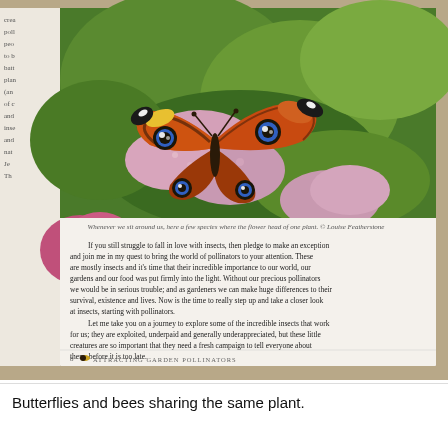[Figure (photo): A photograph of an open book page showing a close-up image of a butterfly (peacock butterfly) on pink flowers, with text below the image. The book appears to be about attracting garden pollinators.]
Butterflies and bees sharing the same plant.